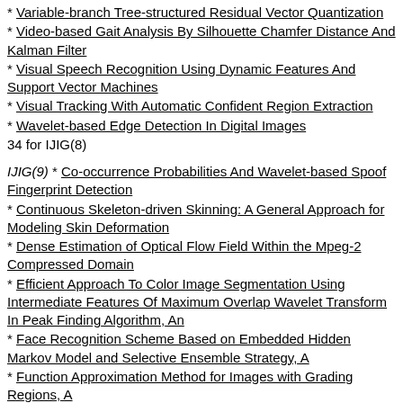* Variable-branch Tree-structured Residual Vector Quantization
* Video-based Gait Analysis By Silhouette Chamfer Distance And Kalman Filter
* Visual Speech Recognition Using Dynamic Features And Support Vector Machines
* Visual Tracking With Automatic Confident Region Extraction
* Wavelet-based Edge Detection In Digital Images
34 for IJIG(8)
IJIG(9) * Co-occurrence Probabilities And Wavelet-based Spoof Fingerprint Detection
* Continuous Skeleton-driven Skinning: A General Approach for Modeling Skin Deformation
* Dense Estimation of Optical Flow Field Within the Mpeg-2 Compressed Domain
* Efficient Approach To Color Image Segmentation Using Intermediate Features Of Maximum Overlap Wavelet Transform In Peak Finding Algorithm, An
* Face Recognition Scheme Based on Embedded Hidden Markov Model and Selective Ensemble Strategy, A
* Function Approximation Method for Images with Grading Regions, A
* Fungiform Papillae Hyperplasia (fph) Identification by